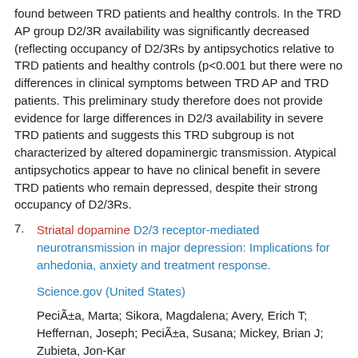found between TRD patients and healthy controls. In the TRD AP group D2/3R availability was significantly decreased (reflecting occupancy of D2/3Rs by antipsychotics relative to TRD patients and healthy controls (p<0.001 but there were no differences in clinical symptoms between TRD AP and TRD patients. This preliminary study therefore does not provide evidence for large differences in D2/3 availability in severe TRD patients and suggests this TRD subgroup is not characterized by altered dopaminergic transmission. Atypical antipsychotics appear to have no clinical benefit in severe TRD patients who remain depressed, despite their strong occupancy of D2/3Rs.
7. Striatal dopamine D2/3 receptor-mediated neurotransmission in major depression: Implications for anhedonia, anxiety and treatment response.
Science.gov (United States)
Pecia, Marta; Sikora, Magdalena; Avery, Erich T; Heffernan, Joseph; Pecia, Susana; Mickey, Brian J; Zubieta, Jon-Kar
2017-10-01
Dopamine (DA) neurotransmission within the brain's reward